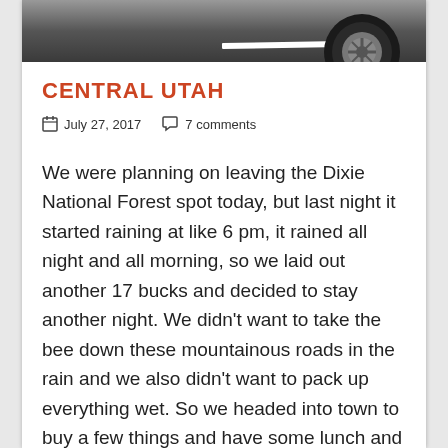[Figure (photo): Top portion of a photo showing a car wheel/tire and a road with a white line, on asphalt pavement]
CENTRAL UTAH
July 27, 2017   7 comments
We were planning on leaving the Dixie National Forest spot today, but last night it started raining at like 6 pm, it rained all night and all morning, so we laid out another 17 bucks and decided to stay another night. We didn't want to take the bee down these mountainous roads in the rain and we also didn't want to pack up everything wet. So we headed into town to buy a few things and have some lunch and to get a cell signal and the wifi for a few hours. We also wanted to buy a mouse trap because for the last 2 nights we have